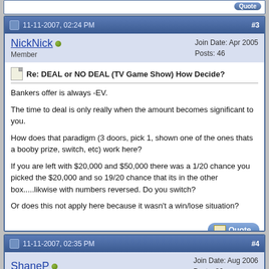[partial clipped post at top]
11-11-2007, 02:24 PM  #3
NickNick  Member  Join Date: Apr 2005  Posts: 46
Re: DEAL or NO DEAL (TV Game Show) How Decide?
Bankers offer is always -EV.

The time to deal is only really when the amount becomes significant to you.

How does that paradigm (3 doors, pick 1, shown one of the ones thats a booby prize, switch, etc) work here?

If you are left with $20,000 and $50,000 there was a 1/20 chance you picked the $20,000 and so 19/20 chance that its in the other box.....likwise with numbers reversed. Do you switch?

Or does this not apply here because it wasn't a win/lose situation?
11-11-2007, 02:35 PM  #4
ShaneP  Join Date: Aug 2006  Posts: 80